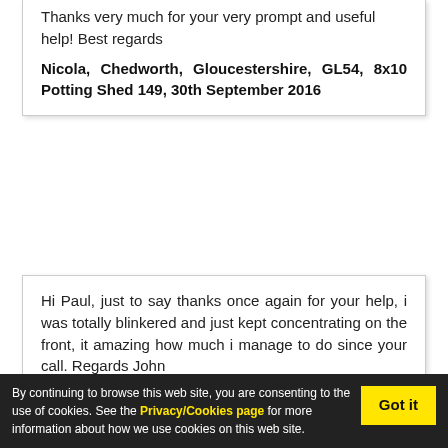Thanks very much for your very prompt and useful help! Best regards
Nicola, Chedworth, Gloucestershire, GL54, 8x10 Potting Shed 149, 30th September 2016
Hi Paul, just to say thanks once again for your help, i was totally blinkered and just kept concentrating on the front, it amazing how much i manage to do since your call. Regards John
John, Saltley Ferry, Chester, CH4, 6x8
By continuing to browse this web site, you are consenting to the use of cookies. See the Privacy/Cookies page for more information about how we use cookies on this web site.